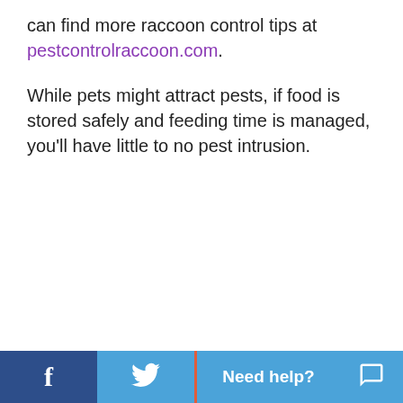can find more raccoon control tips at pestcontrolraccoon.com.
While pets might attract pests, if food is stored safely and feeding time is managed, you'll have little to no pest intrusion.
f  [Twitter bird icon]  Need help?  [Chat icon]